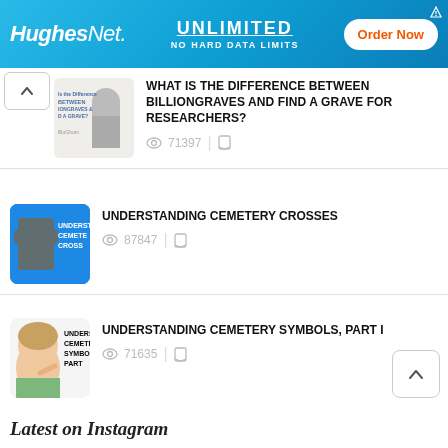[Figure (screenshot): HughesNet advertisement banner: UNLIMITED / NO HARD DATA LIMITS / Order Now button]
WHAT IS THE DIFFERENCE BETWEEN BILLIONGRAVES AND FIND A GRAVE FOR RESEARCHERS? | 71397 views
UNDERSTANDING CEMETERY CROSSES | 87847 views
UNDERSTANDING CEMETERY SYMBOLS, PART I | 71635 views
Latest on Instagram